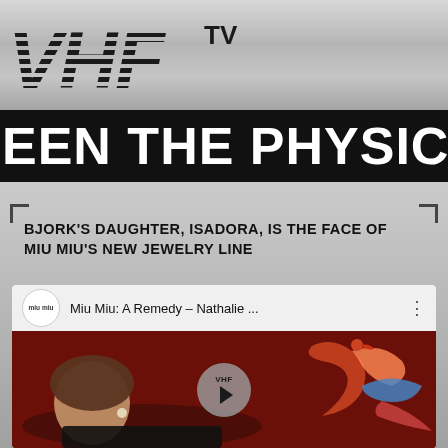[Figure (logo): VHF TV logo in italic striped lettering on metallic silver background]
EEN THE PHYSICAL
BJORK'S DAUGHTER, ISADORA, IS THE FACE OF MIU MIU'S NEW JEWELRY LINE
[Figure (screenshot): YouTube video thumbnail showing Miu Miu: A Remedy - Nathalie ... video with a young woman lying down and a bird figure, with VHF play button overlay]